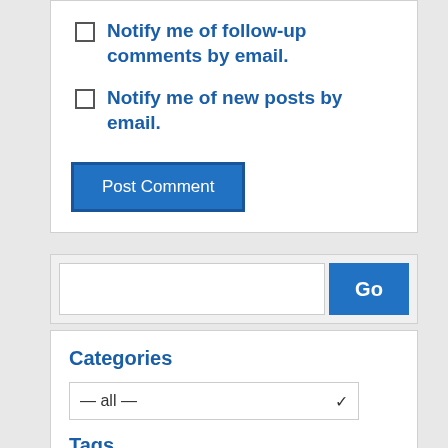Notify me of follow-up comments by email.
Notify me of new posts by email.
Post Comment
Go
Categories
— all —
Tags